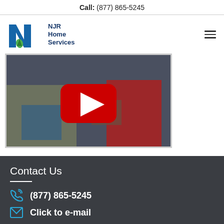Call: (877) 865-5245
[Figure (logo): NJR Home Services logo — blue N arrow icon with green flame leaf and blue text 'NJR Home Services']
[Figure (photo): Video thumbnail showing two people on a couch, one in jeans and one in red sweater, with a red YouTube play button overlay]
Contact Us
(877) 865-5245
Click to e-mail